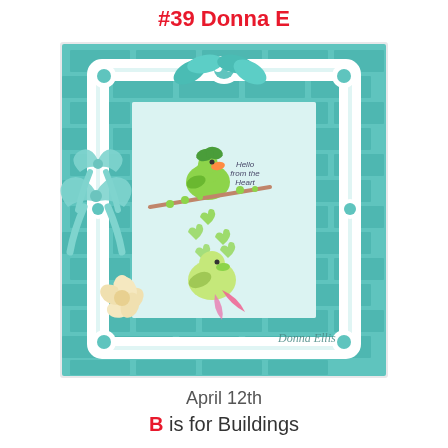#39 Donna E
[Figure (photo): A handmade greeting card featuring a white ornate die-cut lace frame on a teal/mint brick-patterned background. Inside the frame are two illustrated green birds on a branch with heart-shaped leaves and the text 'Hello from the Heart'. The card is decorated with mint satin ribbon bows and a cream paper flower in the corner. Signed 'Donna Ellis' in the lower right.]
April 12th
B is for Buildings